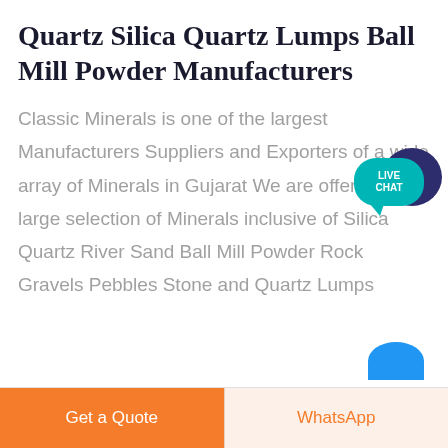Quartz Silica Quartz Lumps Ball Mill Powder Manufacturers
[Figure (illustration): Live Chat speech bubble widget with teal foreground bubble labeled LIVE CHAT and dark navy blue background bubble]
Classic Minerals is one of the largest Manufacturers Suppliers and Exporters of a wide array of Minerals in Gujarat We are offering a large selection of Minerals inclusive of Silica Quartz River Sand Ball Mill Powder Rock Gravels Pebbles Stone and Quartz Lumps
[Figure (illustration): Partial blue circle/arc visible at bottom right corner]
Get a Quote
WhatsApp